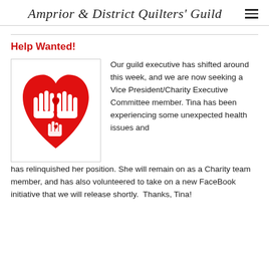Amprior & District Quilters' Guild
Help Wanted!
[Figure (illustration): Red heart shape with white hand silhouettes raised upward, and a small red heart in the center, representing charity/volunteering]
Our guild executive has shifted around this week, and we are now seeking a Vice President/Charity Executive Committee member. Tina has been experiencing some unexpected health issues and has relinquished her position. She will remain on as a Charity team member, and has also volunteered to take on a new FaceBook initiative that we will release shortly.  Thanks, Tina!